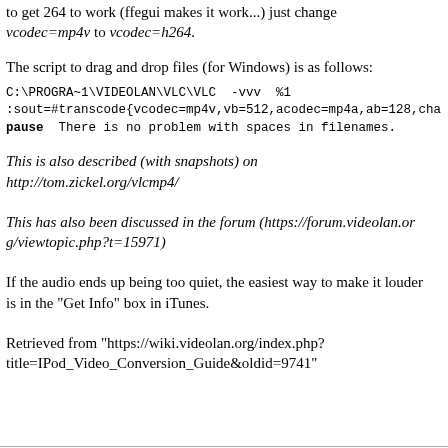to get 264 to work (ffegui makes it work...) just change vcodec=mp4v to vcodec=h264.
The script to drag and drop files (for Windows) is as follows:
C:\PROGRA~1\VIDEOLAN\VLC\VLC -vvv %1
:sout=#transcode{vcodec=mp4v,vb=512,acodec=mp4a,ab=128,cha
pause  There is no problem with spaces in filenames.
This is also described (with snapshots) on http://tom.zickel.org/vlcmp4/
This has also been discussed in the forum (https://forum.videolan.org/viewtopic.php?t=15971)
If the audio ends up being too quiet, the easiest way to make it louder is in the "Get Info" box in iTunes.
Retrieved from "https://wiki.videolan.org/index.php?title=IPod_Video_Conversion_Guide&oldid=9741"